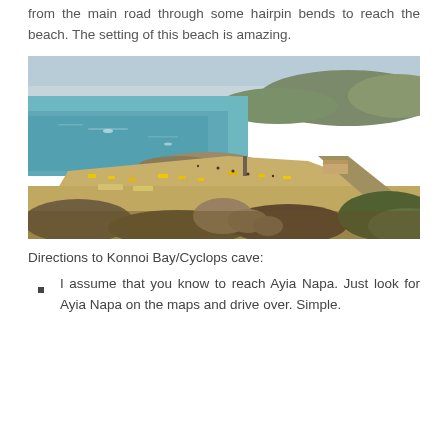from the main road through some hairpin bends to reach the beach. The setting of this beach is amazing.
[Figure (photo): Aerial/elevated view of Konnoi Bay (Cyclops cave area), showing a sandy beach with colorful sun loungers, turquoise sea water, rocky coastline, and dry scrubland vegetation in the foreground. People visible on beach. Rocky headlands in background.]
Directions to Konnoi Bay/Cyclops cave:
I assume that you know to reach Ayia Napa. Just look for Ayia Napa on the maps and drive over. Simple.